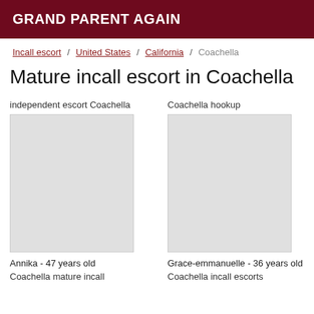GRAND PARENT AGAIN
Incall escort / United States / California / Coachella
Mature incall escort in Coachella
independent escort Coachella
Coachella hookup
Annika - 47 years old
Grace-emmanuelle - 36 years old
Coachella mature incall
Coachella incall escorts